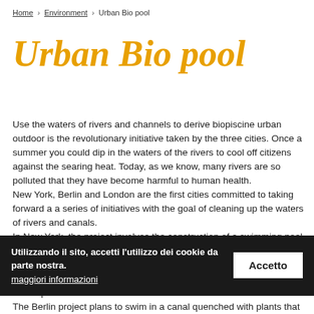Home > Environment > Urban Bio pool
Urban Bio pool
Use the waters of rivers and channels to derive biopiscine urban outdoor is the revolutionary initiative taken by the three cities. Once a summer you could dip in the waters of the rivers to cool off citizens against the searing heat. Today, as we know, many rivers are so polluted that they have become harmful to human health.
New York, Berlin and London are the first cities committed to taking forward a a series of initiatives with the goal of cleaning up the waters of rivers and canals.
In New York, the project involves the construction of a swimming pool floating on a canal and contributes, through a filtering system, to clean its waters notoriously toxic, because even the sewers, making de... In fact, the sewe... d a... excess ends up in the river.
The Berlin project plans to swim in a canal quenched with plants that
Utilizzando il sito, accetti l'utilizzo dei cookie da parte nostra. maggiori informazioni   Accetto